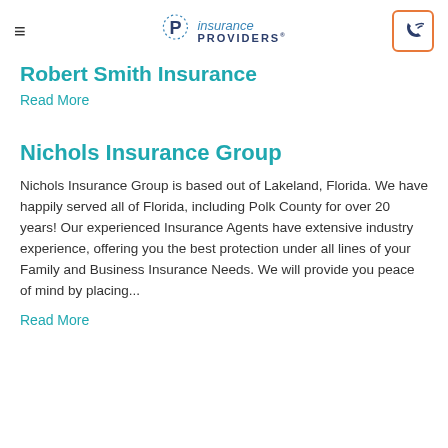Insurance Providers — navigation header with logo and phone button
Robert Smith Insurance
Read More
Nichols Insurance Group
Nichols Insurance Group is based out of Lakeland, Florida. We have happily served all of Florida, including Polk County for over 20 years! Our experienced Insurance Agents have extensive industry experience, offering you the best protection under all lines of your Family and Business Insurance Needs. We will provide you peace of mind by placing...
Read More